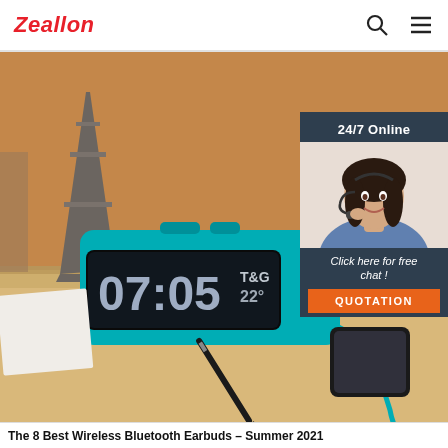Zeallon
[Figure (photo): Product photo of a blue T&G Bluetooth speaker/alarm clock showing time 07:05 on a desk, with an Eiffel Tower figurine in background, pen and phone nearby. Warm orange wall background.]
[Figure (infographic): Overlay panel on the right side showing '24/7 Online' heading, photo of a smiling woman with headset, text 'Click here for free chat !', and an orange QUOTATION button.]
The 8 Best Wireless Bluetooth Earbuds – Summer 2021